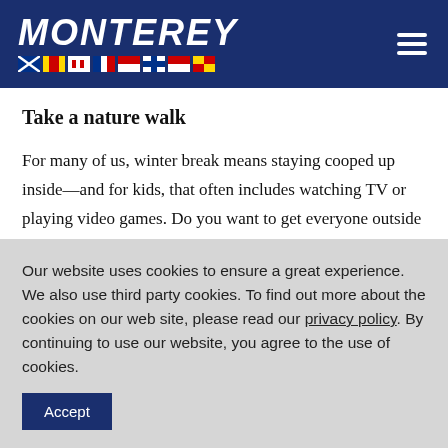MONTEREY
Take a nature walk
For many of us, winter break means staying cooped up inside—and for kids, that often includes watching TV or playing video games. Do you want to get everyone outside to enjoy the fresh air? Enjoy the cooler weather and get active while doing so by planning a nature walk around your neighborhood or at a nearby
Our website uses cookies to ensure a great experience. We also use third party cookies. To find out more about the cookies on our web site, please read our privacy policy. By continuing to use our website, you agree to the use of cookies.